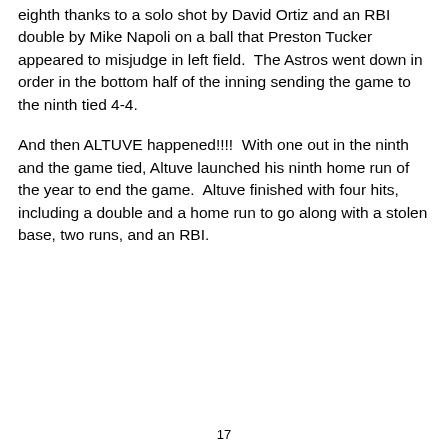eighth thanks to a solo shot by David Ortiz and an RBI double by Mike Napoli on a ball that Preston Tucker appeared to misjudge in left field.  The Astros went down in order in the bottom half of the inning sending the game to the ninth tied 4-4.
And then ALTUVE happened!!!!  With one out in the ninth and the game tied, Altuve launched his ninth home run of the year to end the game.  Altuve finished with four hits, including a double and a home run to go along with a stolen base, two runs, and an RBI.
17